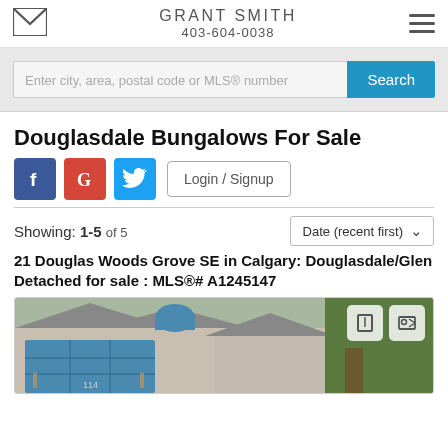GRANT SMITH 403-604-0038
Enter city, area, postal code or MLS® number
Douglasdale Bungalows For Sale
Login / Signup
Showing: 1-5 of 5
Date (recent first)
21 Douglas Woods Grove SE in Calgary: Douglasdale/Glen Detached for sale : MLS®# A1245147
[Figure (photo): Front exterior of a house with blue garage door and arched window detail]